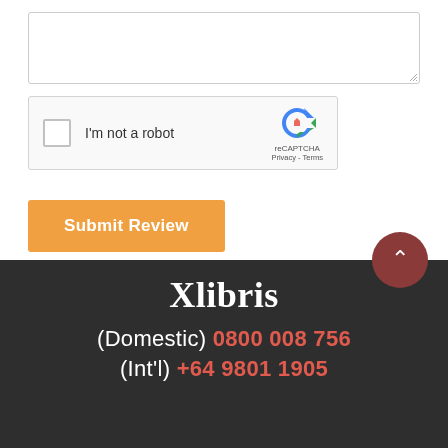[Figure (screenshot): Empty textarea input box with resize handle in bottom right corner]
[Figure (screenshot): reCAPTCHA widget with checkbox, 'I'm not a robot' label, reCAPTCHA logo, Privacy and Terms links]
Submit Review
Xlibris
(Domestic) 0800 008 756
(Int'l) +64 9801 1905